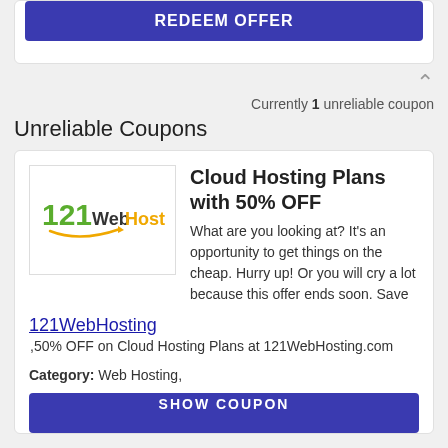REDEEM OFFER
Currently 1 unreliable coupon
Unreliable Coupons
[Figure (logo): 121 WebHosting logo with green and yellow styling]
Cloud Hosting Plans with 50% OFF
What are you looking at? It’s an opportunity to get things on the cheap. Hurry up! Or you will cry a lot because this offer ends soon. Save 121WebHosting 50% OFF on Cloud Hosting Plans at 121WebHosting.com
Category: Web Hosting,
SHOW COUPON